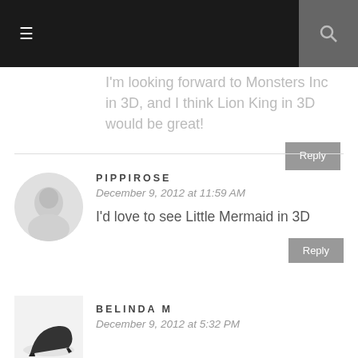≡ [search icon]
I'm looking forward to Monsters Inc in 3D, and I think Lion King in 3D would be great!
PIPPIROSE
December 9, 2012 at 11:59 AM
I'd love to see Little Mermaid in 3D
BELINDA M
December 9, 2012 at 5:32 PM